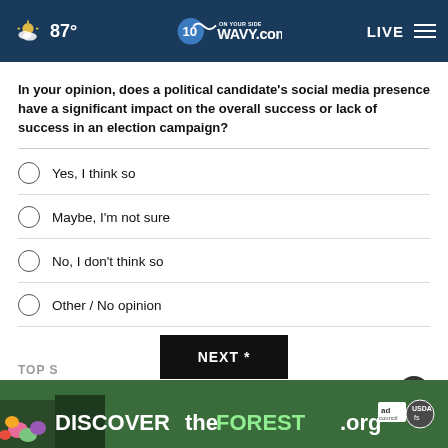87° WAVY.com ON YOUR SIDE LIVE
In your opinion, does a political candidate's social media presence have a significant impact on the overall success or lack of success in an election campaign?
Yes, I think so
Maybe, I'm not sure
No, I don't think so
Other / No opinion
NEXT *
* By clicking "NEXT" you agree to the following: We use cookies to track your survey answers. If you would like to continue with this survey, please read and agree to the CivicScience Privacy Policy and Terms of Service
[Figure (photo): DiscovertheForest.org advertisement banner with nature background]
TOP S